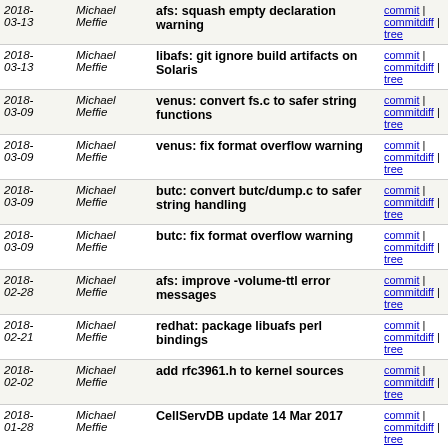| Date | Author | Commit message | Links |
| --- | --- | --- | --- |
| 2018-03-13 | Michael Meffie | afs: squash empty declaration warning | commit | commitdiff | tree |
| 2018-03-13 | Michael Meffie | libafs: git ignore build artifacts on Solaris | commit | commitdiff | tree |
| 2018-03-09 | Michael Meffie | venus: convert fs.c to safer string functions | commit | commitdiff | tree |
| 2018-03-09 | Michael Meffie | venus: fix format overflow warning | commit | commitdiff | tree |
| 2018-03-09 | Michael Meffie | butc: convert butc/dump.c to safer string handling | commit | commitdiff | tree |
| 2018-03-09 | Michael Meffie | butc: fix format overflow warning | commit | commitdiff | tree |
| 2018-02-28 | Michael Meffie | afs: improve -volume-ttl error messages | commit | commitdiff | tree |
| 2018-02-21 | Michael Meffie | redhat: package libuafs perl bindings | commit | commitdiff | tree |
| 2018-02-02 | Michael Meffie | add rfc3961.h to kernel sources | commit | commitdiff | tree |
| 2018-01-28 | Michael Meffie | CellServDB update 14 Mar 2017 | commit | commitdiff | tree |
| 2018-01-18 | Michael Meffie | redhat: fix conditional for kernel-debuginfo files... | commit | commitdiff | tree |
| 2018-01-10 | Michael Meffie | autoconf: refactor linux-checks.m4 | commit | commitdiff | tree |
| 2018-01-10 | Michael Meffie | autoconf: refactor ostype.m4 | commit | commitdiff | tree |
| 2018-... | Michael | ... | commit |